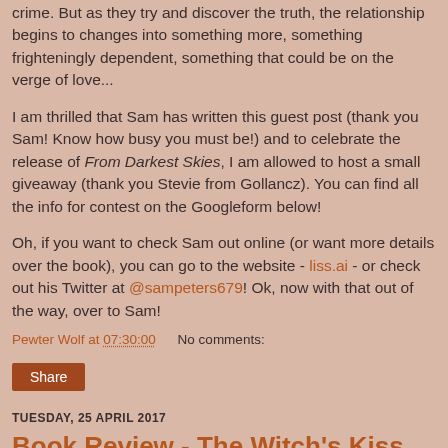crime. But as they try and discover the truth, the relationship begins to changes into something more, something frighteningly dependent, something that could be on the verge of love...
I am thrilled that Sam has written this guest post (thank you Sam! Know how busy you must be!) and to celebrate the release of From Darkest Skies, I am allowed to host a small giveaway (thank you Stevie from Gollancz). You can find all the info for contest on the Googleform below!
Oh, if you want to check Sam out online (or want more details over the book), you can go to the website - liss.ai - or check out his Twitter at @sampeters679! Ok, now with that out of the way, over to Sam!
Pewter Wolf at 07:30:00    No comments:
Share
TUESDAY, 25 APRIL 2017
Book Review - The Witch's Kiss